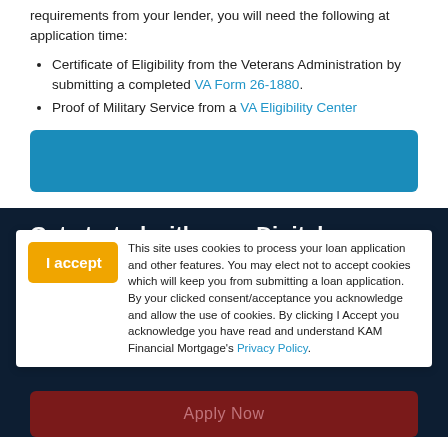requirements from your lender, you will need the following at application time:
Certificate of Eligibility from the Veterans Administration by submitting a completed VA Form 26-1880.
Proof of Military Service from a VA Eligibility Center
[Figure (other): Blue banner/box placeholder]
Get started with your Digital Mortgage
No ords: Apply Now
This site uses cookies to process your loan application and other features. You may elect not to accept cookies which will keep you from submitting a loan application. By your clicked consent/acceptance you acknowledge and allow the use of cookies. By clicking I Accept you acknowledge you have read and understand KAM Financial Mortgage's Privacy Policy.